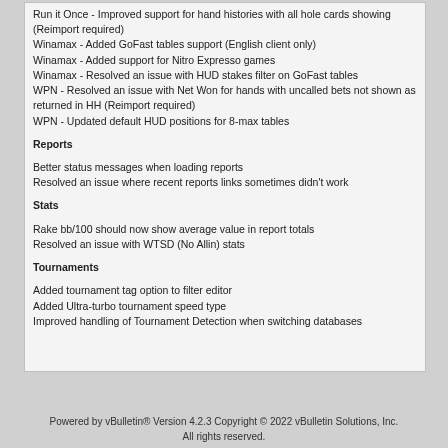Run it Once - Improved support for hand histories with all hole cards showing (Reimport required)
Winamax - Added GoFast tables support (English client only)
Winamax - Added support for Nitro Expresso games
Winamax - Resolved an issue with HUD stakes filter on GoFast tables
WPN - Resolved an issue with Net Won for hands with uncalled bets not shown as returned in HH (Reimport required)
WPN - Updated default HUD positions for 8-max tables
Reports
Better status messages when loading reports
Resolved an issue where recent reports links sometimes didn't work
Stats
Rake bb/100 should now show average value in report totals
Resolved an issue with WTSD (No Allin) stats
Tournaments
Added tournament tag option to filter editor
Added Ultra-turbo tournament speed type
Improved handling of Tournament Detection when switching databases
Powered by vBulletin® Version 4.2.3 Copyright © 2022 vBulletin Solutions, Inc. All rights reserved.